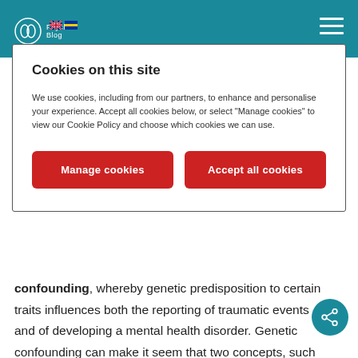Cookies on this site
Cookies on this site
We use cookies, including from our partners, to enhance and personalise your experience. Accept all cookies below, or select "Manage cookies" to view our Cookie Policy and choose which cookies we can use.
confounding, whereby genetic predisposition to certain traits influences both the reporting of traumatic events and of developing a mental health disorder. Genetic confounding can make it seem that two concepts, such as self-reporting trauma and mental health, are more strongly associated than they actually are, as the same genetic factors increase the likelihood of both.